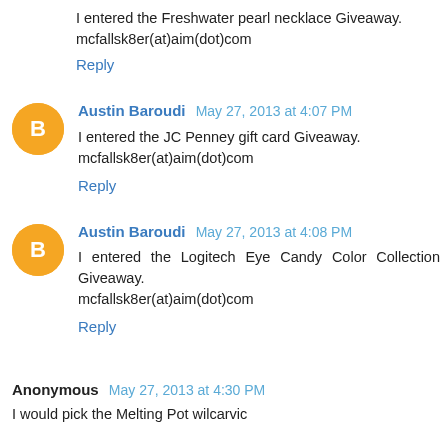I entered the Freshwater pearl necklace Giveaway.
mcfallsk8er(at)aim(dot)com
Reply
Austin Baroudi  May 27, 2013 at 4:07 PM
I entered the JC Penney gift card Giveaway.
mcfallsk8er(at)aim(dot)com
Reply
Austin Baroudi  May 27, 2013 at 4:08 PM
I entered the Logitech Eye Candy Color Collection Giveaway.
mcfallsk8er(at)aim(dot)com
Reply
Anonymous  May 27, 2013 at 4:30 PM
I would pick the Melting Pot wilcarvic